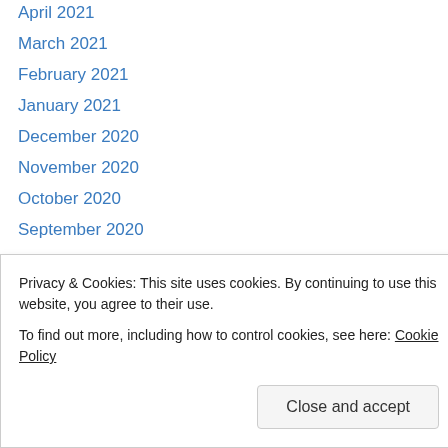April 2021
March 2021
February 2021
January 2021
December 2020
November 2020
October 2020
September 2020
August 2020
July 2020
June 2020
May 2020
April 2020
March 2020
September 2019
Privacy & Cookies: This site uses cookies. By continuing to use this website, you agree to their use.
To find out more, including how to control cookies, see here: Cookie Policy